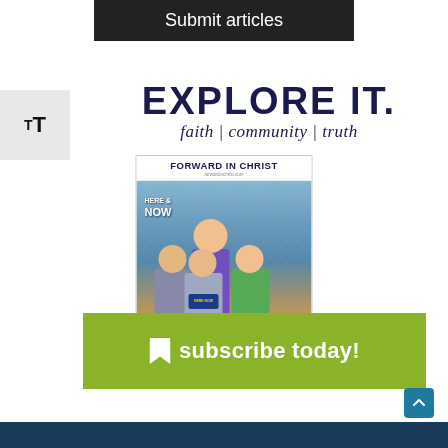Submit articles
[Figure (logo): Text resize icon with two T letters of different sizes]
EXPLORE IT. faith | community | truth
[Figure (photo): Cover of Forward in Christ magazine showing group of young people with HERE & NOW text]
[Figure (infographic): Green banner with subscribe today! text and bookmark icon]